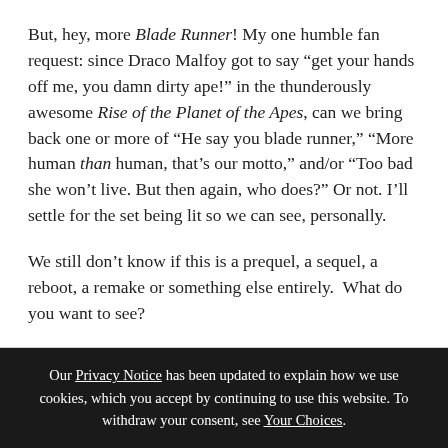But, hey, more Blade Runner! My one humble fan request: since Draco Malfoy got to say “get your hands off me, you damn dirty ape!” in the thunderously awesome Rise of the Planet of the Apes, can we bring back one or more of “He say you blade runner,” “More human than human, that’s our motto,” and/or “Too bad she won’t live. But then again, who does?” Or not. I’ll settle for the set being lit so we can see, personally.
We still don’t know if this is a prequel, a sequel, a reboot, a remake or something else entirely.  What do you want to see?
Our Privacy Notice has been updated to explain how we use cookies, which you accept by continuing to use this website. To withdraw your consent, see Your Choices.